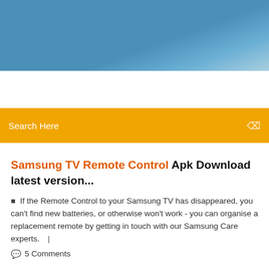[Figure (photo): Blue sky header banner image with gradient blue tones]
Search Here
Samsung TV Remote Control Apk Download latest version...
If the Remote Control to your Samsung TV has disappeared, you can't find new batteries, or otherwise won't work - you can organise a replacement remote by getting in touch with our Samsung Care experts.  |
5 Comments
DaVoice Phone Tripod Mount + Wireless Remote Control